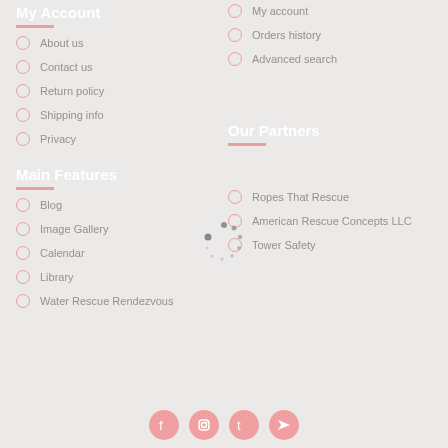My Account
About us
Contact us
Return policy
Shipping info
Privacy
My account
Orders history
Advanced search
Main Features
Our Partners
Blog
Image Gallery
Calendar
Library
Water Rescue Rendezvous
Ropes That Rescue
American Rescue Concepts LLC
Tower Safety
[Figure (infographic): Loading spinner dots in a circular arrangement]